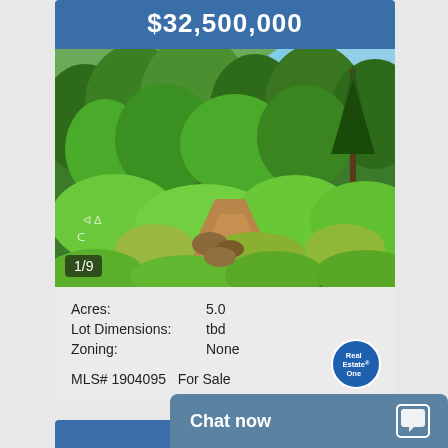$32,500,000
[Figure (photo): Outdoor wooded lot photo showing dense green trees, brush, and dirt path. Blue sky visible in upper right. Photo counter shows 1/9.]
| Acres: | 5.0 |
| Lot Dimensions: | tbd |
| Zoning: | None |
MLS# 1904095   For Sale
[Figure (logo): Real Estate One circular blue logo]
Chat now